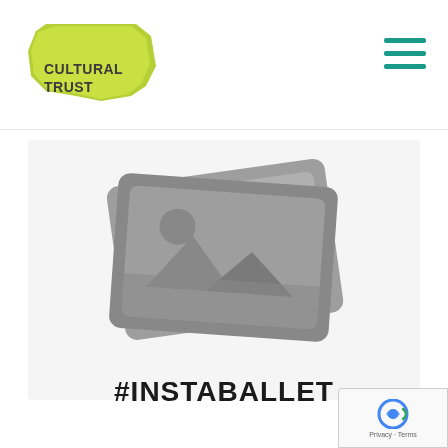Cultural Trust
[Figure (illustration): Stacked image placeholder icons (two overlapping photo frames with mountain and sun silhouette, gray color)]
#INSTABALLET
[Figure (logo): reCAPTCHA badge with Privacy and Terms links]